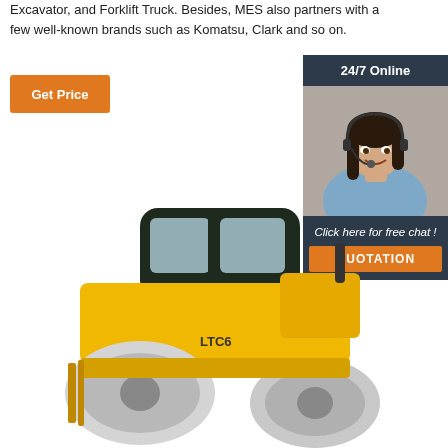Excavator, and Forklift Truck. Besides, MES also partners with a few well-known brands such as Komatsu, Clark and so on.
Get Price
[Figure (illustration): 24/7 Online customer service panel with photo of smiling woman with headset, and a QUOTATION button with 'Click here for free chat!' text]
[Figure (photo): Yellow LTC6 road roller / compactor machine on white background]